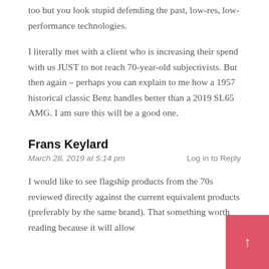too but you look stupid defending the past, low-res, low-performance technologies.
I literally met with a client who is increasing their spend with us JUST to not reach 70-year-old subjectivists. But then again – perhaps you can explain to me how a 1957 historical classic Benz handles better than a 2019 SL65 AMG. I am sure this will be a good one.
Frans Keylard
March 28, 2019 at 5:14 pm
Log in to Reply
I would like to see flagship products from the 70s reviewed directly against the current equivalent products (preferably by the same brand). That something worth reading because it will allow